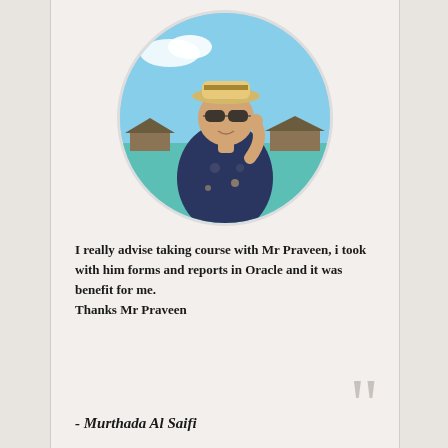[Figure (photo): Circular cropped photo of a young man wearing a straw fedora hat, sunglasses, and a dark floral printed short-sleeve shirt. He is posing at a tropical resort with thatched-roof bungalows and turquoise water visible in the background.]
I really advise taking course with Mr Praveen, i took with him forms and reports in Oracle and it was benefit for me.
Thanks Mr Praveen
- Murthada Al Saifi